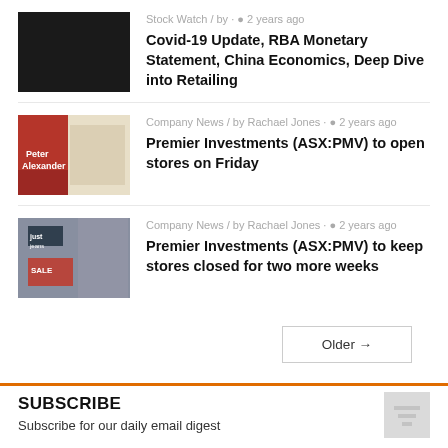[Figure (photo): Black thumbnail image for Stock Watch article]
Stock Watch / by · 2 years ago
Covid-19 Update, RBA Monetary Statement, China Economics, Deep Dive into Retailing
[Figure (photo): Photo of Peter Alexander store front]
Company News / by Rachael Jones · 2 years ago
Premier Investments (ASX:PMV) to open stores on Friday
[Figure (photo): Photo of retail store with Just Jeans sale sign]
Company News / by Rachael Jones · 2 years ago
Premier Investments (ASX:PMV) to keep stores closed for two more weeks
Older →
SUBSCRIBE
Subscribe for our daily email digest